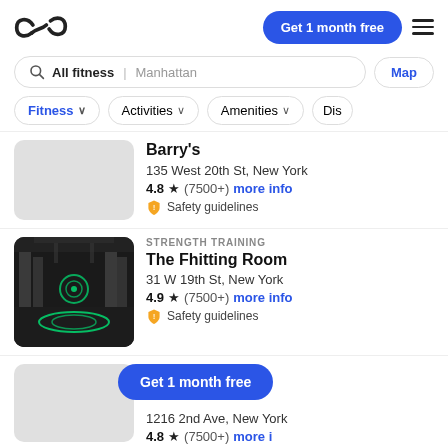ClassPass app header with logo, Get 1 month free button, and hamburger menu
All fitness  Manhattan  Map
Fitness  Activities  Amenities  Dis
Barry's
135 West 20th St, New York
4.8 ★ (7500+) more info
Safety guidelines
[Figure (screenshot): The Fhitting Room gym interior showing weight racks and green neon circles on the floor]
STRENGTH TRAINING
The Fhitting Room
31 W 19th St, New York
4.9 ★ (7500+) more info
Safety guidelines
STRENGTH TRAINING
1216 2nd Ave, New York
(7500+) more info
[Figure (screenshot): Get 1 month free promotional button overlay on partial listing]